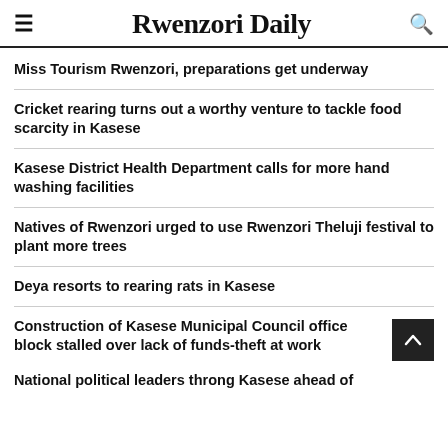Rwenzori Daily
Miss Tourism Rwenzori, preparations get underway
Cricket rearing turns out a worthy venture to tackle food scarcity in Kasese
Kasese District Health Department calls for more hand washing facilities
Natives of Rwenzori urged to use Rwenzori Theluji festival to plant more trees
Deya resorts to rearing rats in Kasese
Construction of Kasese Municipal Council office block stalled over lack of funds-theft at work
National political leaders throng Kasese ahead of